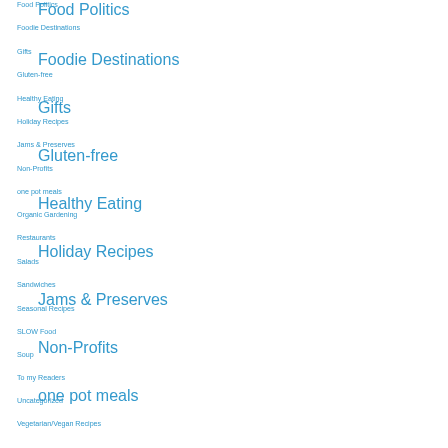Food Politics
Foodie Destinations
Gifts
Gluten-free
Healthy Eating
Holiday Recipes
Jams & Preserves
Non-Profits
one pot meals
Organic Gardening
Restaurants
Salads
Sandwiches
Seasonal Recipes
SLOW Food
Soup
To my Readers
Uncategorized
Vegetarian/Vegan Recipes